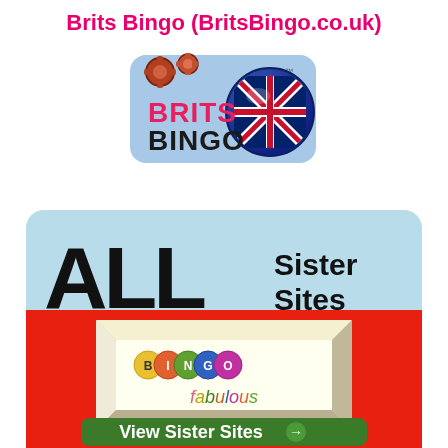Brits Bingo (BritsBingo.co.uk)
[Figure (logo): Brits Bingo logo: blue rounded rectangle with 'BRITS BINGO' text and a bingo ball with UK flag, plus gear icons]
[Figure (logo): ALL Sister Sites banner in light blue with large 'ALL' text and 'Sister Sites' text, followed by a red section containing Bingo Fabulous logo and a green 'View Sister Sites' button with arrow]